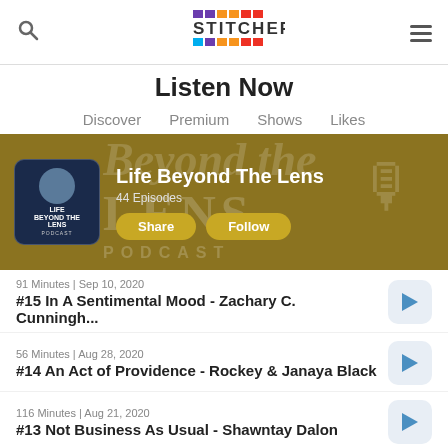Stitcher
Listen Now
Discover
Premium
Shows
Likes
[Figure (screenshot): Life Beyond The Lens podcast banner with gold background, podcast artwork, title, 44 Episodes, Share and Follow buttons]
91 Minutes | Sep 10, 2020
#15 In A Sentimental Mood - Zachary C. Cunningh...
56 Minutes | Aug 28, 2020
#14 An Act of Providence - Rockey & Janaya Black
116 Minutes | Aug 21, 2020
#13 Not Business As Usual - Shawntay Dalon
49 Minutes | Aug 14, 2020